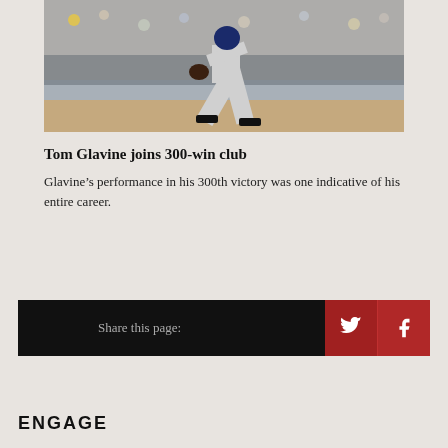[Figure (photo): Baseball pitcher in mid-pitch delivery, wearing grey uniform, crowd visible in background]
Tom Glavine joins 300-win club
Glavine’s performance in his 300th victory was one indicative of his entire career.
Share this page:
ENGAGE